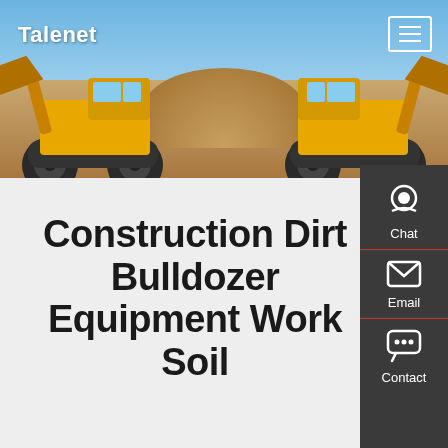[Figure (photo): Hero banner showing two yellow construction bulldozer/loader machines facing each other with raised buckets, sand mound in background, blue sky, Talenet logo top-left, hamburger menu top-right]
Construction Dirt Bulldozer Equipment Work Soil
[Figure (infographic): Right sidebar with dark gray background showing Chat (headset icon), Email (envelope icon), and Contact (speech bubble icon) options with red dividers]